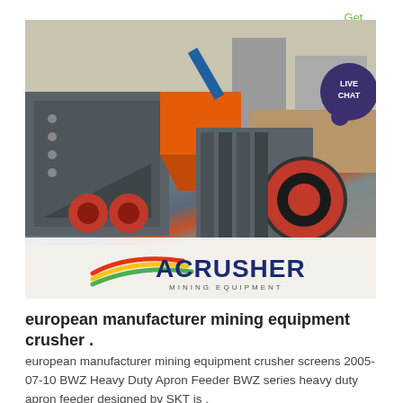Get Price
[Figure (photo): Mining crusher equipment (jaw crusher) at an outdoor construction/mining site with red and dark gray components, with ACRUSHER Mining Equipment logo overlaid at the bottom]
european manufacturer mining equipment crusher .
european manufacturer mining equipment crusher screens 2005-07-10 BWZ Heavy Duty Apron Feeder BWZ series heavy duty apron feeder designed by SKT is .